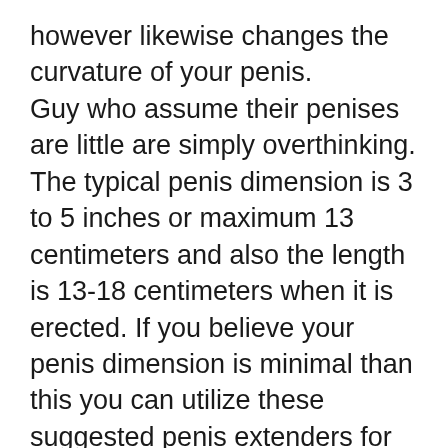however likewise changes the curvature of your penis. Guy who assume their penises are little are simply overthinking. The typical penis dimension is 3 to 5 inches or maximum 13 centimeters and also the length is 13-18 centimeters when it is erected. If you believe your penis dimension is minimal than this you can utilize these suggested penis extenders for finest outcomes. You have to utilize them for a minimum of 6 months and also 7 hours a day to get maximum gains and better lead to much shorter time.
Another penis extending exercise that you can do is the German stretch. This is done by stretching your penis head up as well as down using only your two index fingers. See